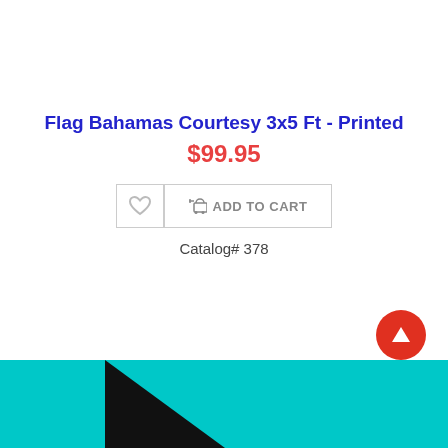Flag Bahamas Courtesy 3x5 Ft - Printed
$99.95
ADD TO CART
Catalog# 378
[Figure (illustration): Scroll-to-top button: red circle with white upward arrow]
[Figure (photo): Bottom strip showing the Bahamas flag with teal/aqua background and black triangle on the left]